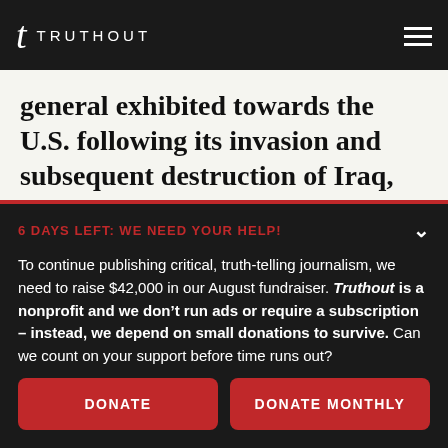TRUTHOUT
general exhibited towards the U.S. following its invasion and subsequent destruction of Iraq, wasn’t it?
6 DAYS LEFT: WE NEED YOUR HELP!
To continue publishing critical, truth-telling journalism, we need to raise $42,000 in our August fundraiser. Truthout is a nonprofit and we don’t run ads or require a subscription – instead, we depend on small donations to survive. Can we count on your support before time runs out?
DONATE
DONATE MONTHLY